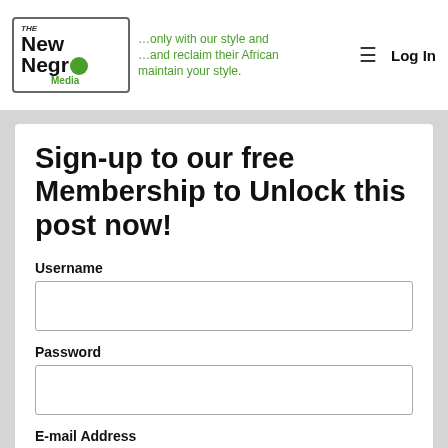The New Negro Media | Log In
Sign-up to our free Membership to Unlock this post now!
Username
Password
E-mail Address